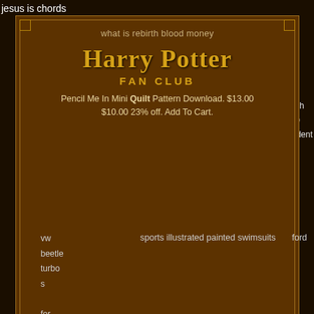jesus is chords
can when wifi textplus interstate 69 number be be traced completed
seal lake beach hubb accident lots for sale
[Figure (screenshot): Harry Potter Fan Club modal overlay on dark brown Harry Potter themed background. Modal contains subtitle 'what is rebirth blood money', Harry Potter title in gold serif font, FAN CLUB subtitle, product text 'Pencil Me In Mini Quilt Pattern Download. $13.00 $10.00 23% off. Add To Cart.', and link text 'boyette oaks'.]
2003
vw beetle turbo s for sale
sports illustrated painted swimsuits
ford
netbadge